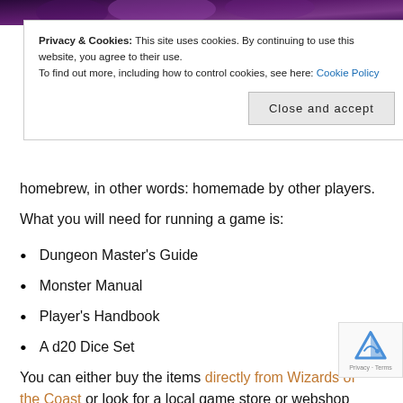[Figure (screenshot): Top portion of a dark fantasy-themed webpage background image, showing purple and dark tones.]
Privacy & Cookies: This site uses cookies. By continuing to use this website, you agree to their use.
To find out more, including how to control cookies, see here: Cookie Policy
Close and accept
homebrew, in other words: homemade by other players.
What you will need for running a game is:
Dungeon Master's Guide
Monster Manual
Player's Handbook
A d20 Dice Set
You can either buy the items directly from Wizards of the Coast or look for a local game store or webshop